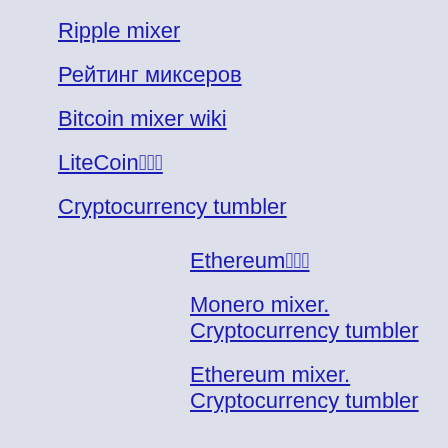Ripple mixer
Рейтинг миксеров
Bitcoin mixer wiki
LiteCoin混合
Cryptocurrency tumbler
Ethereum混合
Monero mixer. Cryptocurrency tumbler
Ethereum mixer. Cryptocurrency tumbler